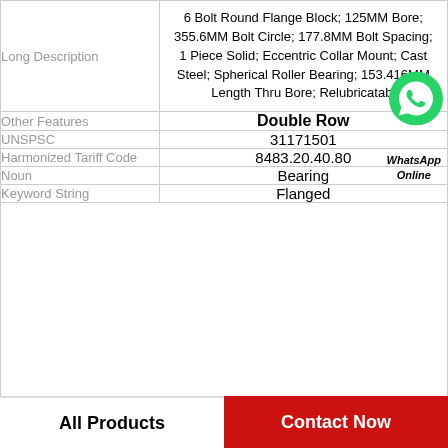| Field | Value |
| --- | --- |
| Long Description | 6 Bolt Round Flange Block; 125MM Bore; 355.6MM Bolt Circle; 177.8MM Bolt Spacing; 1 Piece Solid; Eccentric Collar Mount; Cast Steel; Spherical Roller Bearing; 153.416MM Length Thru Bore; Relubricatabl |
| Other Features | Double Row |
| UNSPSC | 31171501 |
| Harmonized Tariff Code | 8483.20.40.80 |
| Noun | Bearing |
| Keyword String | Flanged |
[Figure (logo): WhatsApp Online green phone icon with WhatsApp Online text]
All Products    Contact Now